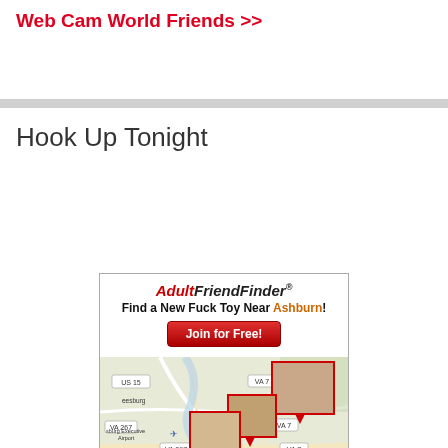Web Cam World Friends >>
Hook Up Tonight
[Figure (screenshot): AdultFriendFinder advertisement showing a map of the Ashburn, VA area with profile photo pins overlaid on the map. The ad header reads 'AdultFriendFinder - Find a New Fuck Toy Near Ashburn!' with a 'Join for Free!' button. The map shows roads labeled US 15, VA 7, VA 267, VA 28, VA 2, and places including Leesburg andsburg Executive Airport.]